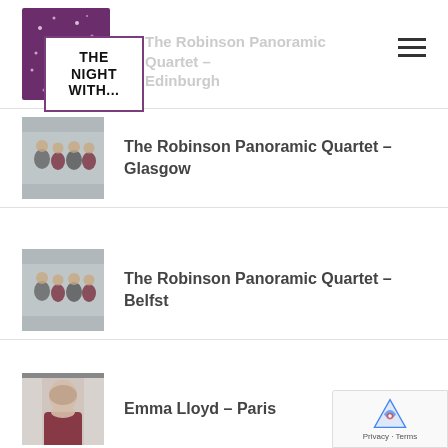[Figure (logo): The Night With... logo — purple star-pattern background with white box containing bold text THE NIGHT WITH...]
The Robinson Panoramic Quartet – Edinburgh
The Robinson Panoramic Quartet – Glasgow
The Robinson Panoramic Quartet – Belfst
Emma Lloyd – Paris